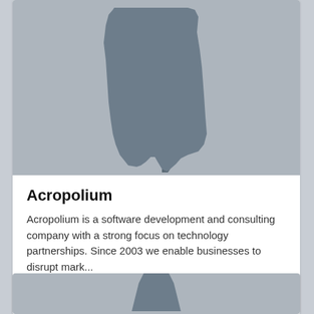[Figure (illustration): Placeholder silhouette image showing a dark gray state/region map shape on a light gray background, for Acropolium company card]
Acropolium
Acropolium is a software development and consulting company with a strong focus on technology partnerships. Since 2003 we enable businesses to disrupt mark...
CESKE BUDEJOVICE, CZECHIA, AL
+1
[Figure (illustration): Partial placeholder silhouette image for a second company card, partially visible at the bottom of the page]